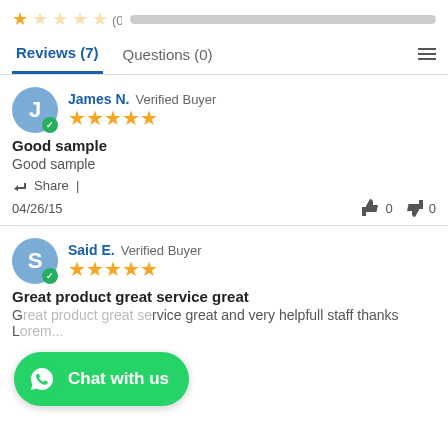[Figure (other): Star rating row: 1 filled star, 4 empty stars, (0), grey progress bar]
Reviews (7)   Questions (0)
James N.  Verified Buyer  ★★★★★
Good sample
Good sample
Share  |
04/26/15   👍 0  👎 0
Said E.  Verified Buyer  ★★★★★
Great product great service great
G...ervice great and very helpfull staff thanks L...
[Figure (other): Green WhatsApp Chat with us button overlay]